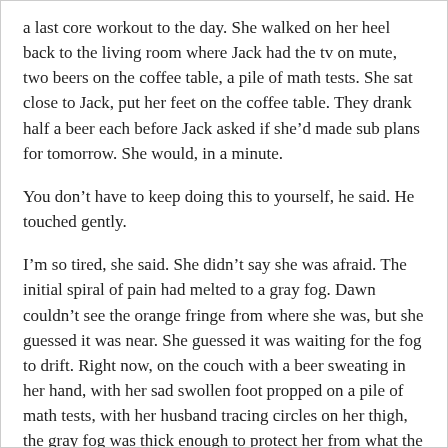a last core workout to the day. She walked on her heel back to the living room where Jack had the tv on mute, two beers on the coffee table, a pile of math tests. She sat close to Jack, put her feet on the coffee table. They drank half a beer each before Jack asked if she'd made sub plans for tomorrow. She would, in a minute.
You don't have to keep doing this to yourself, he said. He touched gently.
I'm so tired, she said. She didn't say she was afraid. The initial spiral of pain had melted to a gray fog. Dawn couldn't see the orange fringe from where she was, but she guessed it was near. She guessed it was waiting for the fog to drift. Right now, on the couch with a beer sweating in her hand, with her sad swollen foot propped on a pile of math tests, with her husband tracing circles on her thigh, the gray fog was thick enough to protect her from what the orange fringe had been pressing her to see: that she was failing at nearly everything. And now, she'd also failed at strength. Dawn breathed in the gray fog, burrowed into Jack's shoulder. She need him to tell her it was